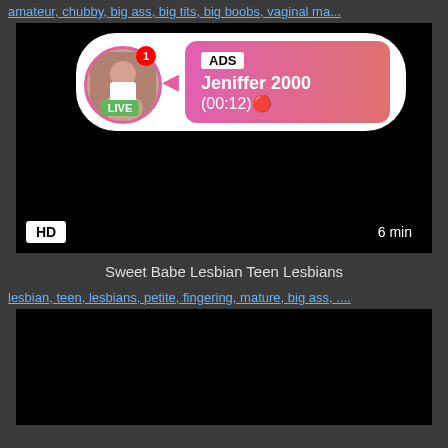amateur, chubby, big ass, big tits, big boobs, vaginal ma...
[Figure (screenshot): Video thumbnail with ad overlay showing LIVE user Jeniffer 2000, HD badge, 6 min duration]
Sweet Babe Lesbian Teen Lesbians
lesbian, teen, lesbians, petite, fingering, mature, big ass, ...
[Figure (screenshot): Second video thumbnail, dark/black]